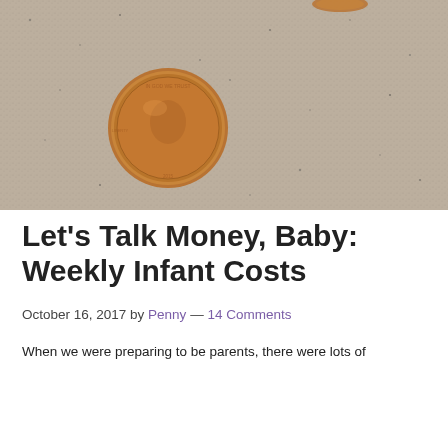[Figure (photo): A close-up photo of a copper penny (Lincoln cent) resting on a grainy sand or concrete surface. Another coin is partially visible at the top of the image.]
Let’s Talk Money, Baby: Weekly Infant Costs
October 16, 2017 by Penny — 14 Comments
When we were preparing to be parents, there were lots of